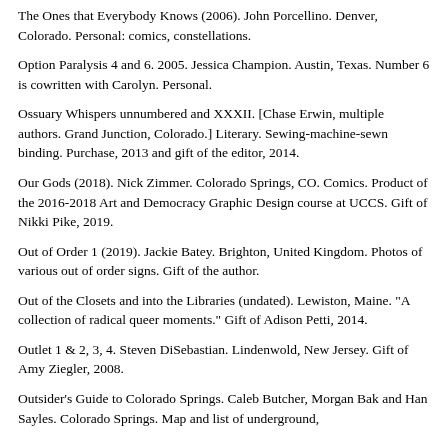The Ones that Everybody Knows (2006). John Porcellino. Denver, Colorado. Personal: comics, constellations.
Option Paralysis 4 and 6. 2005. Jessica Champion. Austin, Texas. Number 6 is cowritten with Carolyn. Personal.
Ossuary Whispers unnumbered and XXXII. [Chase Erwin, multiple authors. Grand Junction, Colorado.] Literary. Sewing-machine-sewn binding. Purchase, 2013 and gift of the editor, 2014.
Our Gods (2018). Nick Zimmer. Colorado Springs, CO. Comics. Product of the 2016-2018 Art and Democracy Graphic Design course at UCCS. Gift of Nikki Pike, 2019.
Out of Order 1 (2019). Jackie Batey. Brighton, United Kingdom. Photos of various out of order signs. Gift of the author.
Out of the Closets and into the Libraries (undated). Lewiston, Maine. "A collection of radical queer moments." Gift of Adison Petti, 2014.
Outlet 1 & 2, 3, 4. Steven DiSebastian. Lindenwold, New Jersey. Gift of Amy Ziegler, 2008.
Outsider's Guide to Colorado Springs. Caleb Butcher, Morgan Bak and Han Sayles. Colorado Springs. Map and list of underground,